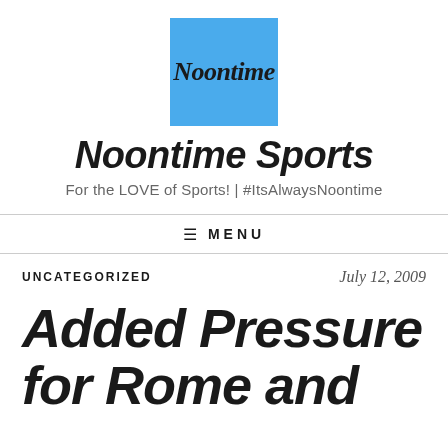[Figure (logo): Blue square logo with cursive 'Noontime' text in dark color]
Noontime Sports
For the LOVE of Sports! | #ItsAlwaysNoontime
☰ MENU
UNCATEGORIZED    July 12, 2009
Added Pressure for Rome and